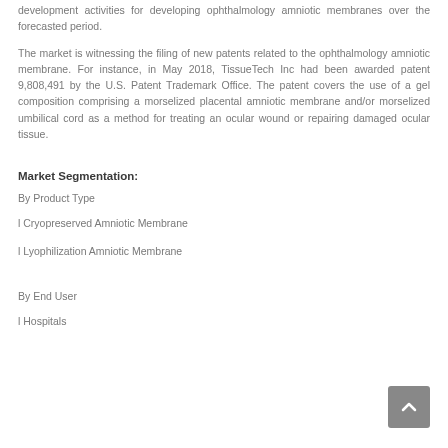development activities for developing ophthalmology amniotic membranes over the forecasted period.
The market is witnessing the filing of new patents related to the ophthalmology amniotic membrane. For instance, in May 2018, TissueTech Inc had been awarded patent 9,808,491 by the U.S. Patent Trademark Office. The patent covers the use of a gel composition comprising a morselized placental amniotic membrane and/or morselized umbilical cord as a method for treating an ocular wound or repairing damaged ocular tissue.
Market Segmentation:
By Product Type
l Cryopreserved Amniotic Membrane
l Lyophilization Amniotic Membrane
By End User
l Hospitals